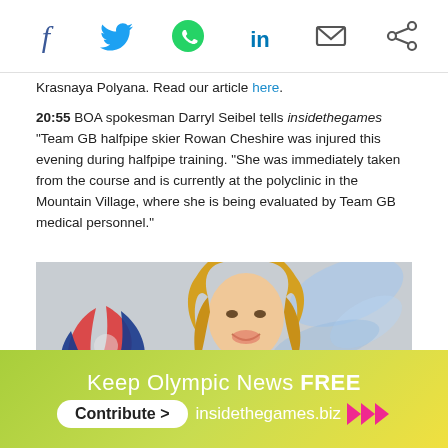Social share icons: Facebook, Twitter, WhatsApp, LinkedIn, Email, Share
Krasnaya Polyana. Read our article here.
20:55 BOA spokesman Darryl Seibel tells insidethegames "Team GB halfpipe skier Rowan Cheshire was injured this evening during halfpipe training. "She was immediately taken from the course and is currently at the polyclinic in the Mountain Village, where she is being evaluated by Team GB medical personnel."
[Figure (photo): Photo of Rowan Cheshire, a young blonde woman smiling, wearing an orange and dark jacket, with Team GB logo visible in the background]
[Figure (infographic): Advertisement banner: 'Keep Olympic News FREE - Contribute > insidethegames.biz' on a yellow-green gradient background with a pink contribute button]